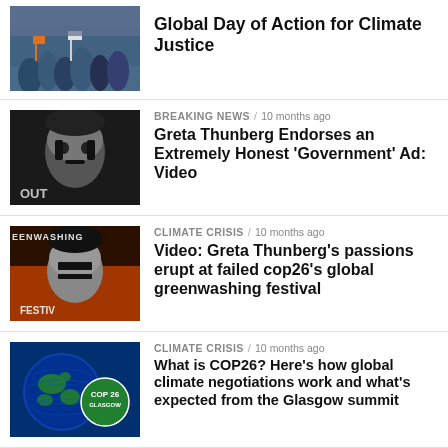[Figure (photo): Crowd of protesters at a climate rally]
Global Day of Action for Climate Justice
[Figure (photo): Close-up portrait of Greta Thunberg with painted face]
BREAKING NEWS / 10 months ago
Greta Thunberg Endorses an Extremely Honest 'Government' Ad: Video
[Figure (photo): Greta Thunberg with greenwashing text overlay]
CLIMATE CRISIS / 10 months ago
Video: Greta Thunberg's passions erupt at failed cop26's global greenwashing festival
[Figure (photo): Globe with COP26 Glasgow badge]
CLIMATE CRISIS / 10 months ago
What is COP26? Here's how global climate negotiations work and what's expected from the Glasgow summit
[Figure (photo): Dark globe image]
CLIMATE CRISIS / 10 months ago
Latest UN Climate Report Delivers 'Another Thundering Wake-Up Call'